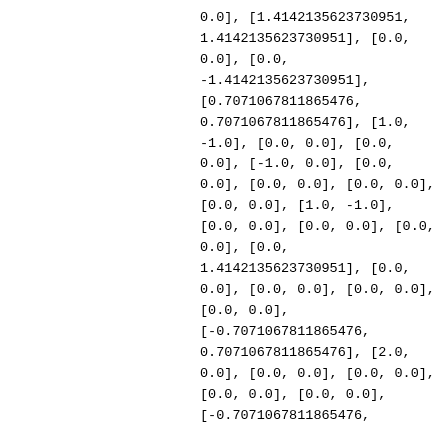0.0], [1.4142135623730951, 1.4142135623730951], [0.0, 0.0], [0.0, -1.4142135623730951], [0.7071067811865476, 0.7071067811865476], [1.0, -1.0], [0.0, 0.0], [0.0, 0.0], [-1.0, 0.0], [0.0, 0.0], [0.0, 0.0], [0.0, 0.0], [0.0, 0.0], [1.0, -1.0], [0.0, 0.0], [0.0, 0.0], [0.0, 0.0], [0.0, 1.4142135623730951], [0.0, 0.0], [0.0, 0.0], [0.0, 0.0], [0.0, 0.0], [-0.7071067811865476, 0.7071067811865476], [2.0, 0.0], [0.0, 0.0], [0.0, 0.0], [0.0, 0.0], [0.0, 0.0], [-0.7071067811865476,